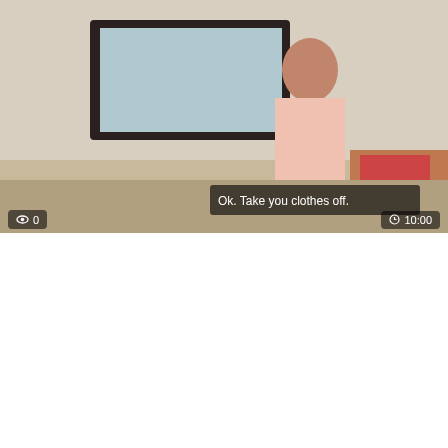[Figure (photo): Video thumbnail showing close-up adult content with FakeAgentUK logo overlay, view count badge showing 0 and duration badge showing 10:00]
FakeAgentUK Tattooed minx surprises agent with amazing fucking skills
[Figure (photo): Video thumbnail showing a brunette woman standing in a room with subtitle 'Ok. Take you clothes off.', view count badge showing 0 and duration badge showing 10:00]